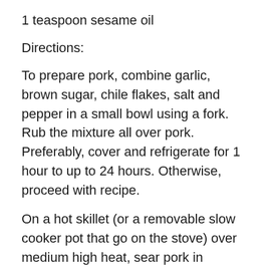1 teaspoon sesame oil
Directions:
To prepare pork, combine garlic, brown sugar, chile flakes, salt and pepper in a small bowl using a fork. Rub the mixture all over pork. Preferably, cover and refrigerate for 1 hour to up to 24 hours. Otherwise, proceed with recipe.
On a hot skillet (or a removable slow cooker pot that go on the stove) over medium high heat, sear pork in batches until browned all over, about 2 minutes per side. Transfer the pork to the slow cooker pot  and add 3/4 cup water, cover, and cook in slow cooker on high for 5 to 7 hours until tender.
While pork cooks, prepare sauce: In a small pot, warm vegetable oil over medium heat. Add garlic and ginger,